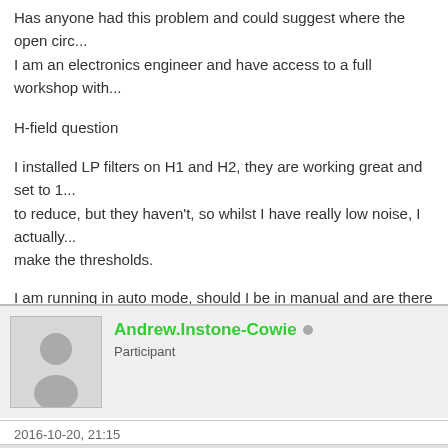Has anyone had this problem and could suggest where the open circ... I am an electronics engineer and have access to a full workshop with...
H-field question
I installed LP filters on H1 and H2, they are working great and set to 1... to reduce, but they haven't, so whilst I have really low noise, I actually... make the thresholds.
I am running in auto mode, should I be in manual and are there any s...
Thanks
Robin
Andrew.Instone-Cowie
Participant
2016-10-20, 21:15